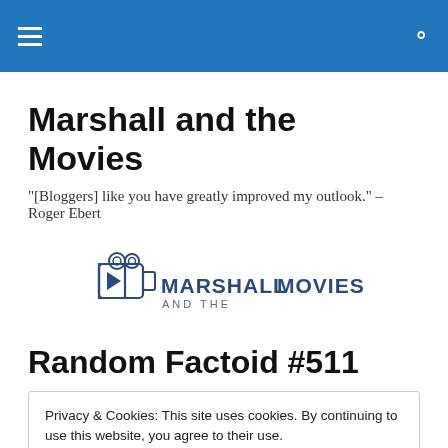Marshall and the Movies — navigation header
Marshall and the Movies
"[Bloggers] like you have greatly improved my outlook." – Roger Ebert
[Figure (logo): Marshall and the Movies logo with film camera icon and text 'MARSHALL AND THE MOVIES']
Random Factoid #511
Privacy & Cookies: This site uses cookies. By continuing to use this website, you agree to their use.
To find out more, including how to control cookies, see here: Cookie Policy
Close and accept